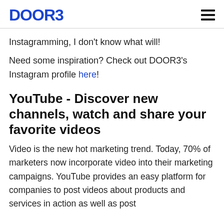DOOR3
Instagramming, I don't know what will!
Need some inspiration? Check out DOOR3's Instagram profile here!
YouTube - Discover new channels, watch and share your favorite videos
Video is the new hot marketing trend. Today, 70% of marketers now incorporate video into their marketing campaigns. YouTube provides an easy platform for companies to post videos about products and services in action as well as post